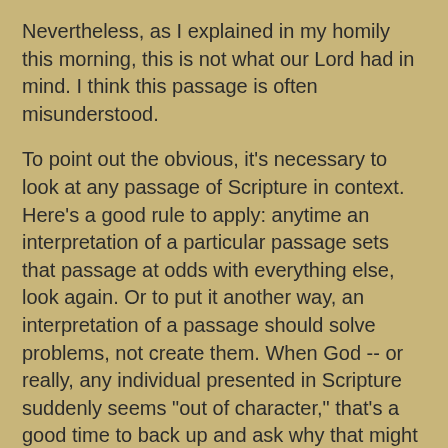Nevertheless, as I explained in my homily this morning, this is not what our Lord had in mind. I think this passage is often misunderstood.
To point out the obvious, it's necessary to look at any passage of Scripture in context. Here's a good rule to apply: anytime an interpretation of a particular passage sets that passage at odds with everything else, look again. Or to put it another way, an interpretation of a passage should solve problems, not create them. When God -- or really, any individual presented in Scripture suddenly seems "out of character," that's a good time to back up and ask why that might be so. There may be a good reason for it.
So let's look at this passage. And let's set it side by side (not literally; I don't know how to do that with Blogger) with the like passage in Matthew 15: 21-28:
Then Jesus went from that place and withdrew to the region of Tyre and Sidon. And behold, a Canaanite woman of that district came and called out, “Have pity on me, Lord, Son of David! My daughter is tormented by a demon.”